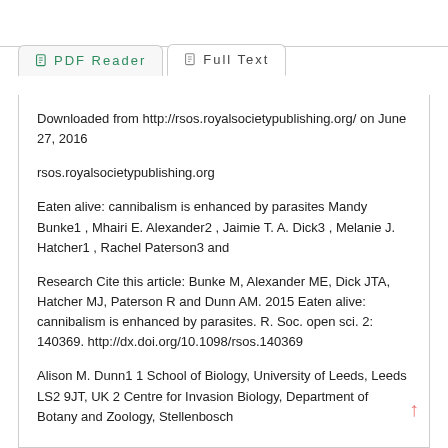PDF Reader | Full Text
Downloaded from http://rsos.royalsocietypublishing.org/ on June 27, 2016
rsos.royalsocietypublishing.org
Eaten alive: cannibalism is enhanced by parasites Mandy Bunke1 , Mhairi E. Alexander2 , Jaimie T. A. Dick3 , Melanie J. Hatcher1 , Rachel Paterson3 and
Research Cite this article: Bunke M, Alexander ME, Dick JTA, Hatcher MJ, Paterson R and Dunn AM. 2015 Eaten alive: cannibalism is enhanced by parasites. R. Soc. open sci. 2: 140369. http://dx.doi.org/10.1098/rsos.140369
Alison M. Dunn1 1 School of Biology, University of Leeds, Leeds LS2 9JT, UK 2 Centre for Invasion Biology, Department of Botany and Zoology, Stellenbosch